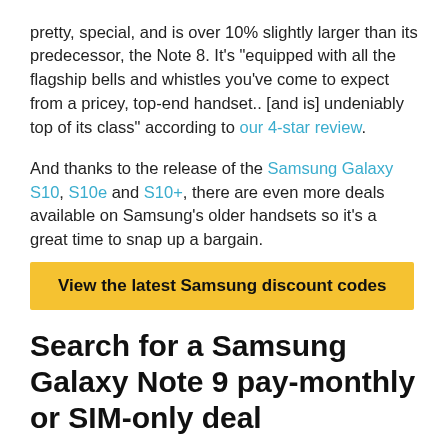pretty special, and is over 10% slightly larger than its predecessor, the Note 8. It's "equipped with all the flagship bells and whistles you've come to expect from a pricey, top-end handset.. [and is] undeniably top of its class" according to our 4-star review.
And thanks to the release of the Samsung Galaxy S10, S10e and S10+, there are even more deals available on Samsung's older handsets so it's a great time to snap up a bargain.
View the latest Samsung discount codes
Search for a Samsung Galaxy Note 9 pay-monthly or SIM-only deal
Is the Samsung Galaxy Note 9 worth it?
Similar to its predecessor, the Galaxy Note 9 is a high-end, jumbo Android phablet equipped with Samsung's very